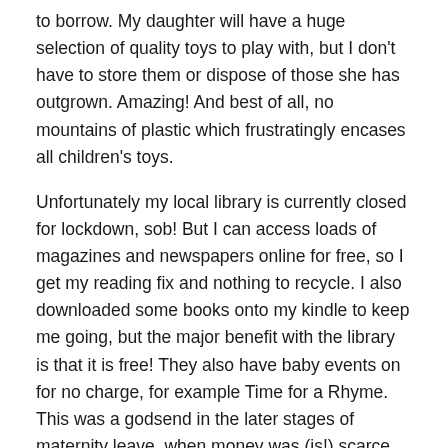to borrow. My daughter will have a huge selection of quality toys to play with, but I don't have to store them or dispose of those she has outgrown. Amazing! And best of all, no mountains of plastic which frustratingly encases all children's toys.
Unfortunately my local library is currently closed for lockdown, sob! But I can access loads of magazines and newspapers online for free, so I get my reading fix and nothing to recycle. I also downloaded some books onto my kindle to keep me going, but the major benefit with the library is that it is free! They also have baby events on for no charge, for example Time for a Rhyme. This was a godsend in the later stages of maternity leave, when money was (is!) scarce. Also fellow humans to speak to, when everyone was at work.